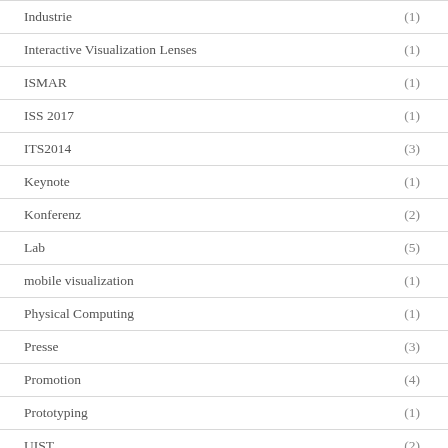Industrie (1)
Interactive Visualization Lenses (1)
ISMAR (1)
ISS 2017 (1)
ITS2014 (3)
Keynote (1)
Konferenz (2)
Lab (5)
mobile visualization (1)
Physical Computing (1)
Presse (3)
Promotion (4)
Prototyping (1)
UIST (2)
Ulrike Kister (1)